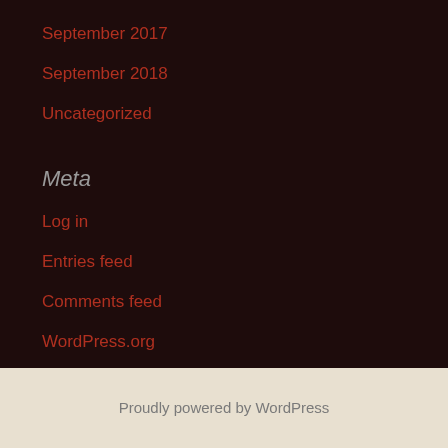September 2017
September 2018
Uncategorized
Meta
Log in
Entries feed
Comments feed
WordPress.org
Proudly powered by WordPress